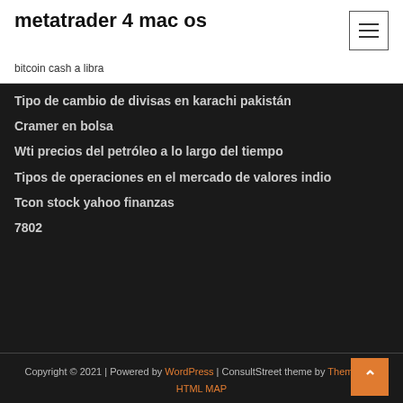metatrader 4 mac os
bitcoin cash a libra
Tipo de cambio de divisas en karachi pakistán
Cramer en bolsa
Wti precios del petróleo a lo largo del tiempo
Tipos de operaciones en el mercado de valores indio
Tcon stock yahoo finanzas
7802
Copyright © 2021 | Powered by WordPress | ConsultStreet theme by ThemeArile HTML MAP